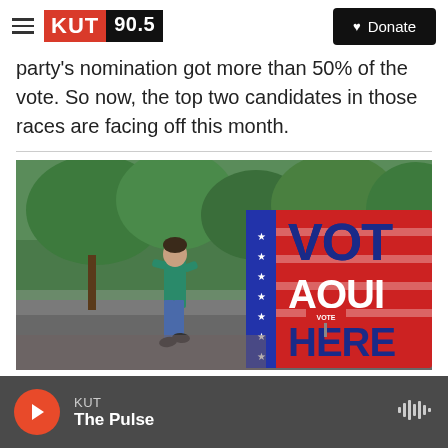KUT 90.5 | Donate
party's nomination got more than 50% of the vote. So now, the top two candidates in those races are facing off this month.
[Figure (photo): A person walking past a large red, white and blue 'VOTE AQUI HERE' bilingual voting sign outside a polling place, with trees in the background.]
KUT | The Pulse